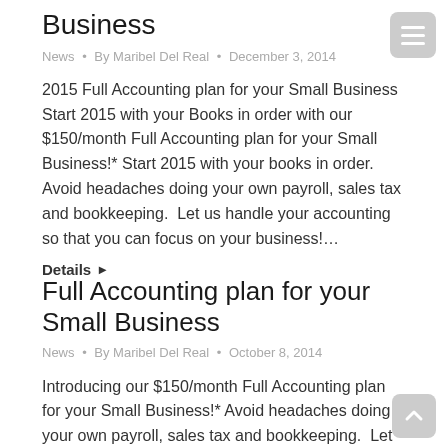Business
News • By Maribel Del Real • December 3, 2014
2015 Full Accounting plan for your Small Business Start 2015 with your Books in order with our $150/month Full Accounting plan for your Small Business!* Start 2015 with your books in order.  Avoid headaches doing your own payroll, sales tax and bookkeeping.  Let us handle your accounting so that you can focus on your business!…
Details ▶
Full Accounting plan for your Small Business
News • By Maribel Del Real • October 8, 2014
Introducing our $150/month Full Accounting plan for your Small Business!* Avoid headaches doing your own payroll, sales tax and bookkeeping.  Let us handle your accounting so that you can focus on your